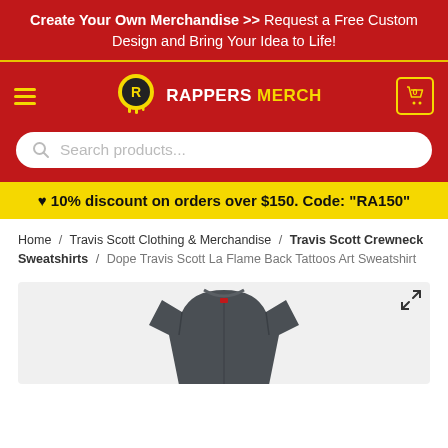Create Your Own Merchandise >> Request a Free Custom Design and Bring Your Idea to Life!
[Figure (logo): Rappers Merch logo with graffiti-style icon and text 'RAPPERS MERCH' in white and yellow]
♥ 10% discount on orders over $150. Code: “RA150”
Home / Travis Scott Clothing & Merchandise / Travis Scott Crewneck Sweatshirts / Dope Travis Scott La Flame Back Tattoos Art Sweatshirt
[Figure (photo): Dark grey/charcoal crewneck sweatshirt product photo, upper portion visible showing collar and shoulders]